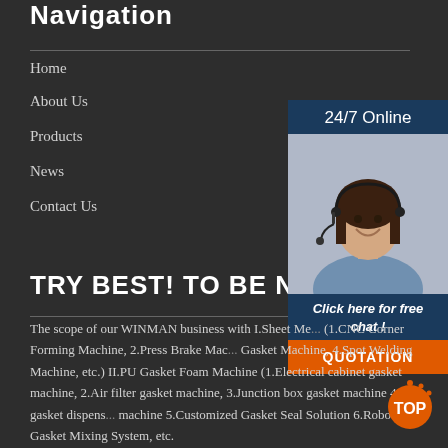Navigation
Home
About Us
Products
News
Contact Us
TRY BEST! TO BE NO.1
[Figure (photo): 24/7 Online customer service agent - woman with headset smiling, with Click here for free chat and QUOTATION button]
The scope of our WINMAN business with I.Sheet Me... (1.CNC Corner Forming Machine, 2.Press Brake Mac... Gasket Machine, 4.Spot Welding Machine, etc.) II.PU Gasket Foam Machine (1.Electrical cabinet gasket machine, 2.Air filter gasket machine, 3.Junction box gasket machine 4.PU gasket dispensi... machine 5.Customized Gasket Seal Solution 6.Robot Gasket Mixing System, etc.